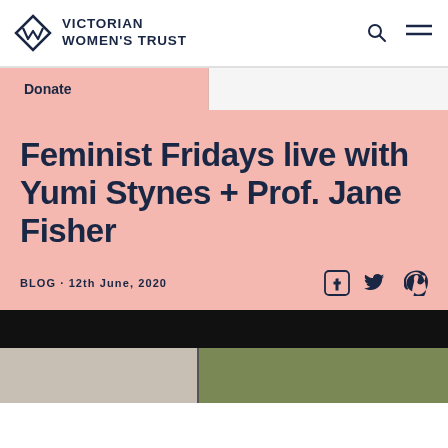VICTORIAN WOMEN'S TRUST
Donate
Feminist Fridays live with Yumi Stynes + Prof. Jane Fisher
BLOG · 12th June, 2020
[Figure (photo): Two women shown in video call screenshots at the bottom of the page]